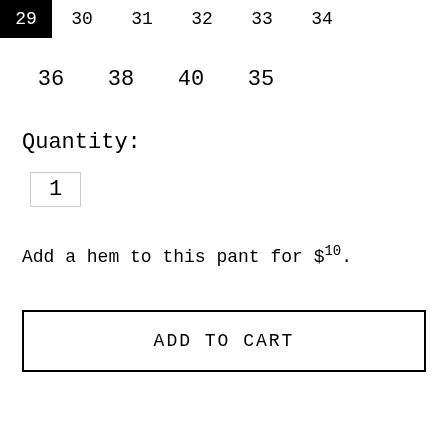29  30  31  32  33  34
36  38  40  35
Quantity:
1
Add a hem to this pant for $10.
ADD TO CART